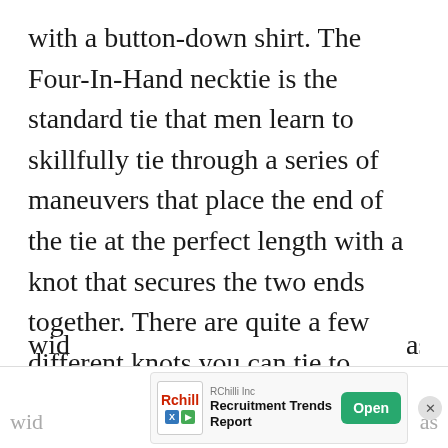with a button-down shirt. The Four-In-Hand necktie is the standard tie that men learn to skillfully tie through a series of maneuvers that place the end of the tie at the perfect length with a knot that secures the two ends together. There are quite a few different knots you can tie to change the appearance of the classic Four-In-Hand necktie. It's a staple for most men who wear dressy casual, business, and formal attire. The style is available in various colors, patterns wid... as
[Figure (other): Advertisement banner for RChilli Inc - Recruitment Trends Report with an Open button and close (X) button]